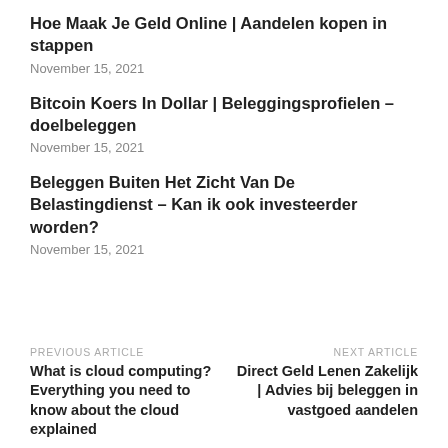Hoe Maak Je Geld Online | Aandelen kopen in stappen
November 15, 2021
Bitcoin Koers In Dollar | Beleggingsprofielen – doelbeleggen
November 15, 2021
Beleggen Buiten Het Zicht Van De Belastingdienst – Kan ik ook investeerder worden?
November 15, 2021
PREVIOUS ARTICLE
What is cloud computing? Everything you need to know about the cloud explained
NEXT ARTICLE
Direct Geld Lenen Zakelijk | Advies bij beleggen in vastgoed aandelen